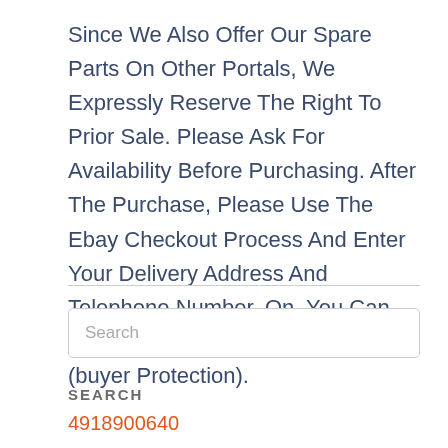Since We Also Offer Our Spare Parts On Other Portals, We Expressly Reserve The Right To Prior Sale. Please Ask For Availability Before Purchasing. After The Purchase, Please Use The Ebay Checkout Process And Enter Your Delivery Address And Telephone Number. On. You Can Pay By Bank Transfer Or Paypal (buyer Protection).
Search
SEARCH
4918900640